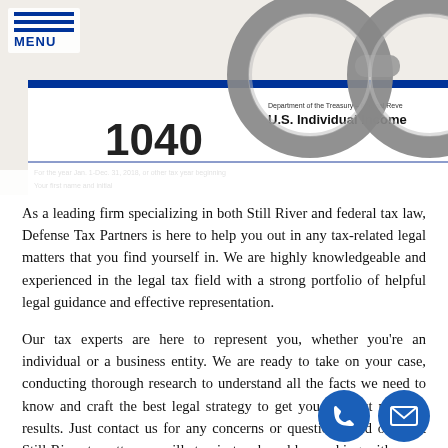MENU
[Figure (photo): Close-up photo of IRS Form 1040 U.S. Individual Income Tax Return 2018 with handcuffs overlaid on top]
As a leading firm specializing in both Still River and federal tax law, Defense Tax Partners is here to help you out in any tax-related legal matters that you find yourself in. We are highly knowledgeable and experienced in the legal tax field with a strong portfolio of helpful legal guidance and effective representation.
Our tax experts are here to represent you, whether you're an individual or a business entity. We are ready to take on your case, conducting thorough research to understand all the facts we need to know and craft the best legal strategy to get you the best possible results. Just contact us for any concerns or questions, and our best Still River tax attorney will stay in touch and be working with us as possible.